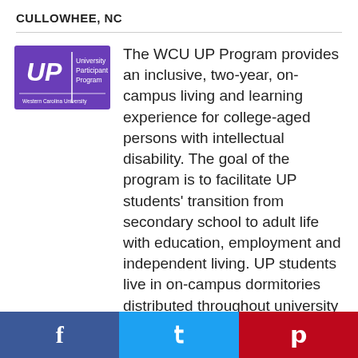CULLOWHEE, NC
[Figure (logo): WCU UP Program logo — purple rectangle with 'UP' letters and text 'University Participant Program, Western Carolina University']
The WCU UP Program provides an inclusive, two-year, on-campus living and learning experience for college-aged persons with intellectual disability. The goal of the program is to facilitate UP students' transition from secondary school to adult life with education, employment and independent living. UP students live in on-campus dormitories distributed throughout university residence halls under the same university